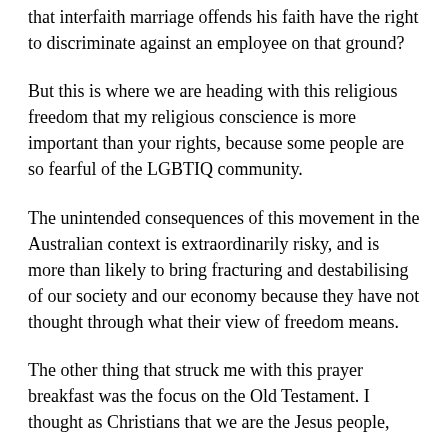that interfaith marriage offends his faith have the right to discriminate against an employee on that ground?
But this is where we are heading with this religious freedom that my religious conscience is more important than your rights, because some people are so fearful of the LGBTIQ community.
The unintended consequences of this movement in the Australian context is extraordinarily risky, and is more than likely to bring fracturing and destabilising of our society and our economy because they have not thought through what their view of freedom means.
The other thing that struck me with this prayer breakfast was the focus on the Old Testament. I thought as Christians that we are the Jesus people,